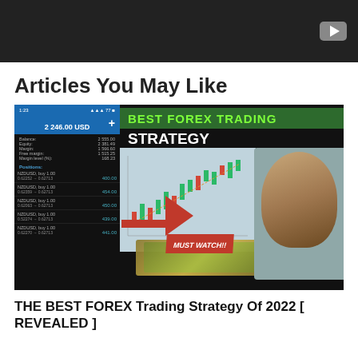[Figure (screenshot): Dark video player banner with a play button icon in the top right corner]
Articles You May Like
[Figure (screenshot): Thumbnail image for a forex trading article showing a trading app on the left with account balance and positions, and a promotional graphic on the right reading 'BEST FOREX TRADING STRATEGY' with a red arrow, candlestick chart, 'MUST WATCH!!' badge, cash money, and a smiling man]
THE BEST FOREX Trading Strategy Of 2022 [ REVEALED ]